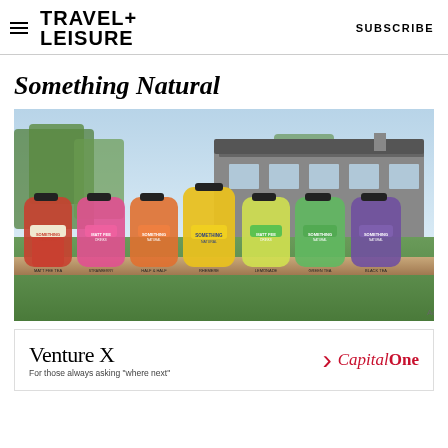TRAVEL+ LEISURE   SUBSCRIBE
Something Natural
[Figure (photo): Seven glass bottles of Something Natural and Matt Fee branded beverages lined up on a table in front of a traditional shingle-style house with trees. Flavors shown include Matt Fee Tea, Strawberry Lemonade, Half & Half, Rhemere, Lemonade, Green Tea, and Black Tea.]
[Figure (infographic): Venture X Capital One advertisement banner reading 'Venture X > CapitalOne For those always asking where next']